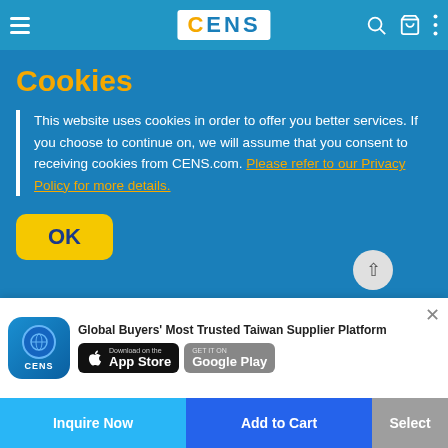CENS
Cookies
This website uses cookies in order to offer you better services. If you choose to continue on, we will assume that you consent to receiving cookies from CENS.com. Please refer to our Privacy Policy for more details.
OK
[Figure (photo): Product image of Sideview Mirror Cover W/LED]
Sideview Mirror Cover W/LED
Global Buyers' Most Trusted Taiwan Supplier Platform
Download on the App Store
GET IT ON Google Play
Inquire Now
Add to Cart
Select